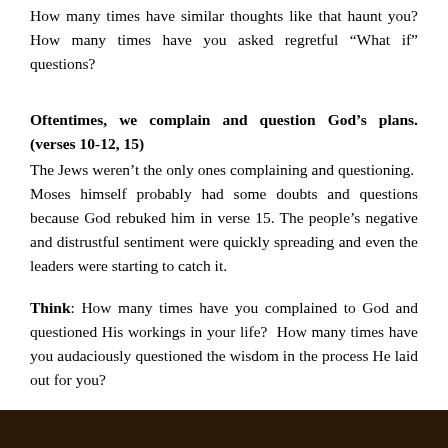How many times have similar thoughts like that haunt you? How many times have you asked regretful “What if” questions?
Oftentimes, we complain and question God’s plans. (verses 10-12, 15)
The Jews weren’t the only ones complaining and questioning. Moses himself probably had some doubts and questions because God rebuked him in verse 15. The people’s negative and distrustful sentiment were quickly spreading and even the leaders were starting to catch it.
Think: How many times have you complained to God and questioned His workings in your life? How many times have you audaciously questioned the wisdom in the process He laid out for you?
[Figure (photo): Dark image strip at the bottom of the page]